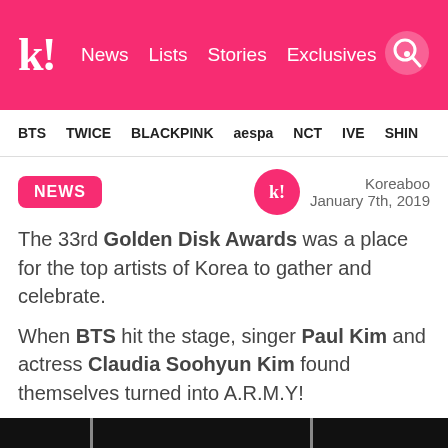k! News Lists Stories Exclusives
BTS TWICE BLACKPINK aespa NCT IVE SHINE
NEWS
Koreaboo January 7th, 2019
The 33rd Golden Disk Awards was a place for the top artists of Korea to gather and celebrate.
When BTS hit the stage, singer Paul Kim and actress Claudia Soohyun Kim found themselves turned into A.R.M.Y!
[Figure (photo): Dark photo showing people on stage, partially visible heads at the bottom of the frame]